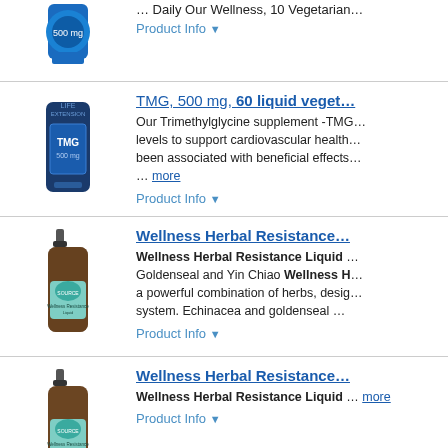[Figure (photo): Product image of supplement bottle (partial, top cut off) with blue circular label]
Daily Our Wellness, 10 Vegetarian...
Product Info ▼
[Figure (photo): Blue bottle of TMG 500mg supplement by Life Extension]
TMG, 500 mg, 60 liquid veget...
Our Trimethylglycine supplement -TMG... levels to support cardiovascular health... been associated with beneficial effects... ... more
Product Info ▼
[Figure (photo): Brown dropper bottle of Wellness Herbal Resistance Liquid with teal label]
Wellness Herbal Resistance...
Wellness Herbal Resistance Liquid ... Goldenseal and Yin Chiao Wellness H... a powerful combination of herbs, desig... system. Echinacea and goldenseal ...
Product Info ▼
[Figure (photo): Brown dropper bottle of Wellness Herbal Resistance Liquid with teal label]
Wellness Herbal Resistance...
Wellness Herbal Resistance Liquid ... more
Product Info ▼
[Figure (photo): Brown dropper bottle of Wellness Herbal Resistance Liquid with teal label]
Wellness Herbal Resistance...
Wellness Herbal Resistance Liquid ... Naturals ... more
Product Info ▼